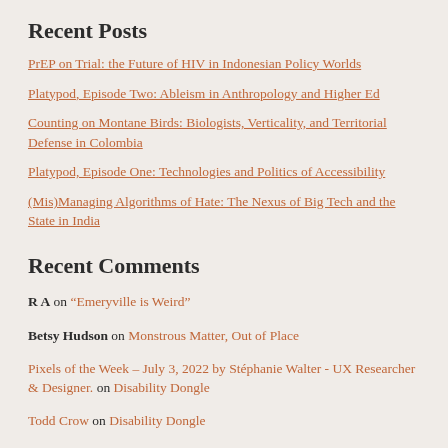Recent Posts
PrEP on Trial: the Future of HIV in Indonesian Policy Worlds
Platypod, Episode Two: Ableism in Anthropology and Higher Ed
Counting on Montane Birds: Biologists, Verticality, and Territorial Defense in Colombia
Platypod, Episode One: Technologies and Politics of Accessibility
(Mis)Managing Algorithms of Hate: The Nexus of Big Tech and the State in India
Recent Comments
R A on “Emeryville is Weird”
Betsy Hudson on Monstrous Matter, Out of Place
Pixels of the Week – July 3, 2022 by Stéphanie Walter - UX Researcher & Designer. on Disability Dongle
Todd Crow on Disability Dongle
The Allowable Limit of Disability | Platypus on Disability Dongle
Archives